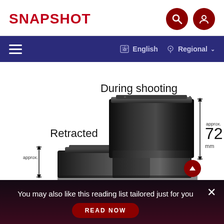SNAPSHOT
[Figure (illustration): Navigation bar with hamburger menu, English language selector, and Regional dropdown on dark blue background]
[Figure (photo): Camera lens diagram showing two states: Retracted (smaller, approx. 44mm height) and During shooting (extended, approx. 72mm height), both shown as black cylindrical lenses side by side with dimension arrows]
You may also like this reading list tailored just for you
READ NOW